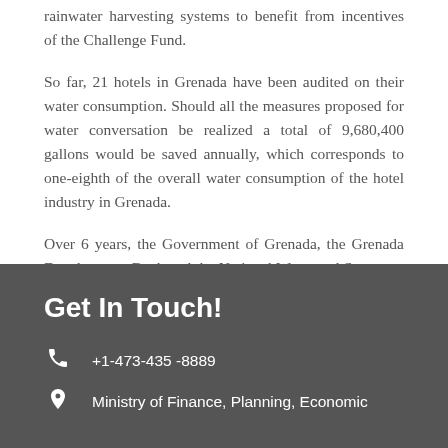rainwater harvesting systems to benefit from incentives of the Challenge Fund.
So far, 21 hotels in Grenada have been audited on their water consumption. Should all the measures proposed for water conversation be realized a total of 9,680,400 gallons would be saved annually, which corresponds to one-eighth of the overall water consumption of the hotel industry in Grenada.
Over 6 years, the Government of Grenada, the Grenada Development Bank and the National Water and Sewerage Authority (NAWASA) in partnership with the German Development Corporation (GIZ) implement the G-CREWS five components. For more information on the Challenge Fund for Tourism, visit this page to view the factsheet.
Get In Touch!
+1-473-435 -8889
Ministry of Finance, Planning, Economic